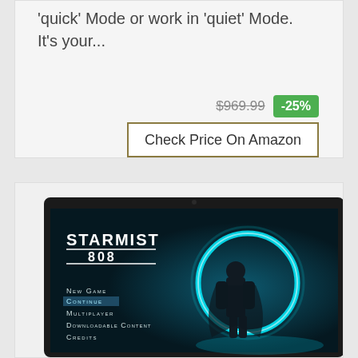'quick' Mode or work in 'quiet' Mode. It's your...
$969.99 -25%
Check Price On Amazon
[Figure (screenshot): Laptop screen showing a video game menu for 'Starmist 808' with a sci-fi character standing in front of a glowing circular portal. Menu options: New Game, Continue (highlighted), Multiplayer, Downloadable Content, Credits.]